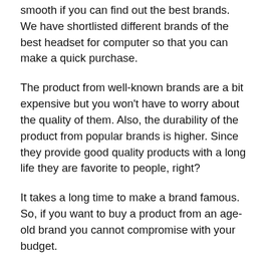smooth if you can find out the best brands. We have shortlisted different brands of the best headset for computer so that you can make a quick purchase.
The product from well-known brands are a bit expensive but you won't have to worry about the quality of them. Also, the durability of the product from popular brands is higher. Since they provide good quality products with a long life they are favorite to people, right?
It takes a long time to make a brand famous. So, if you want to buy a product from an age-old brand you cannot compromise with your budget.